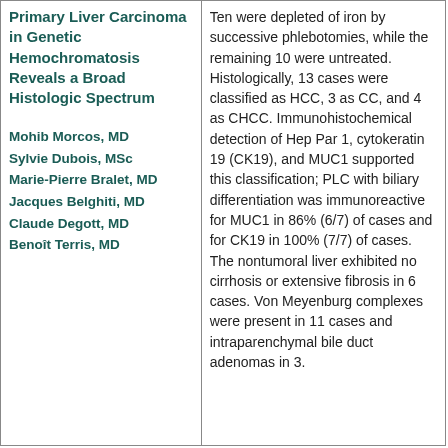Primary Liver Carcinoma in Genetic Hemochromatosis Reveals a Broad Histologic Spectrum
Mohib Morcos, MD
Sylvie Dubois, MSc
Marie-Pierre Bralet, MD
Jacques Belghiti, MD
Claude Degott, MD
Benoît Terris, MD
Ten were depleted of iron by successive phlebotomies, while the remaining 10 were untreated. Histologically, 13 cases were classified as HCC, 3 as CC, and 4 as CHCC. Immunohistochemical detection of Hep Par 1, cytokeratin 19 (CK19), and MUC1 supported this classification; PLC with biliary differentiation was immunoreactive for MUC1 in 86% (6/7) of cases and for CK19 in 100% (7/7) of cases. The nontumoral liver exhibited no cirrhosis or extensive fibrosis in 6 cases. Von Meyenburg complexes were present in 11 cases and intraparenchymal bile duct adenomas in 3.